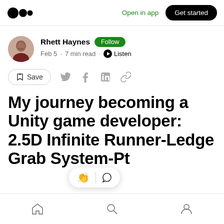Open in app  Get started
Rhett Haynes  Follow  Feb 5 · 7 min read · Listen
Save
My journey becoming a Unity game developer: 2.5D Infinite Runner-Ledge Grab System-Pt